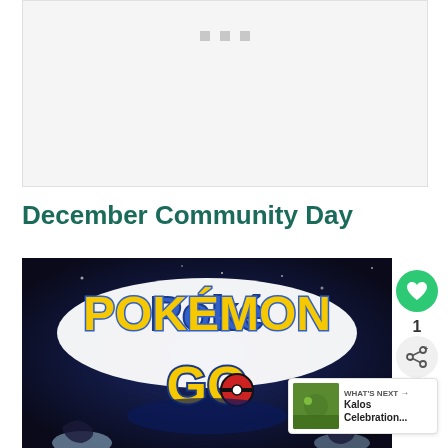[Figure (other): Slideshow image placeholder with three small square dots near the top center]
December Community Day
[Figure (photo): Pokémon GO logo image with blue and yellow text on a dark starfield background, with Pokémon characters visible at the bottom]
1
WHAT'S NEXT → Kalos Celebration...